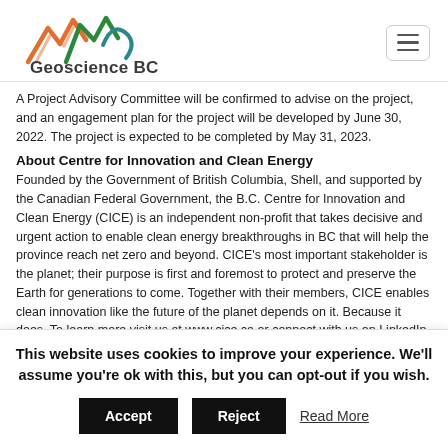[Figure (logo): Geoscience BC logo with mountain silhouette in orange, green, and teal colors, and bold text 'Geoscience BC' below]
A Project Advisory Committee will be confirmed to advise on the project, and an engagement plan for the project will be developed by June 30, 2022. The project is expected to be completed by May 31, 2023.
About Centre for Innovation and Clean Energy
Founded by the Government of British Columbia, Shell, and supported by the Canadian Federal Government, the B.C. Centre for Innovation and Clean Energy (CICE) is an independent non-profit that takes decisive and urgent action to enable clean energy breakthroughs in BC that will help the province reach net zero and beyond. CICE's most important stakeholder is the planet; their purpose is first and foremost to protect and preserve the Earth for generations to come. Together with their members, CICE enables clean innovation like the future of the planet depends on it. Because it does. To learn more visit us at www.cice.ca or connect with us on LinkedIn and Twitter.
This website uses cookies to improve your experience. We'll assume you're ok with this, but you can opt-out if you wish.